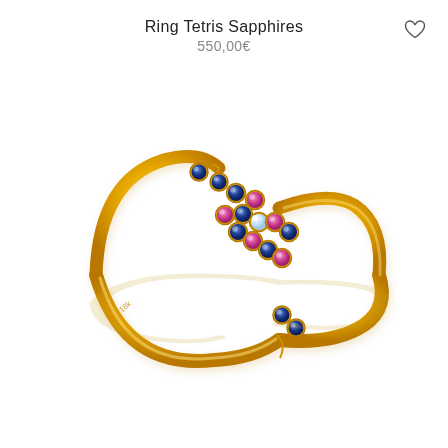Ring Tetris Sapphires
550,00€
[Figure (photo): Gold ring with multicolored gemstones arranged in a Tetris-like cross pattern at the top, featuring blue sapphires, pink sapphires, and a central diamond, with a reflection below on white background]